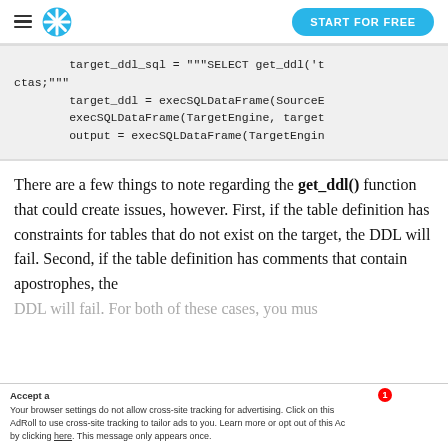START FOR FREE
target_ddl_sql = """SELECT get_ddl('t
ctas;"""
        target_ddl = execSQLDataFrame(SourceE
        execSQLDataFrame(TargetEngine, target
        output = execSQLDataFrame(TargetEngin
There are a few things to note regarding the get_ddl() function that could create issues, however. First, if the table definition has constraints for tables that do not exist on the target, the DDL will fail. Second, if the table definition has comments that contain apostrophes, the DDL will fail. For both of these cases, you must
Your browser settings do not allow cross-site tracking for advertising. Click on this AdRoll to use cross-site tracking to tailor ads to you. Learn more or opt out of this by clicking here. This message only appears once.